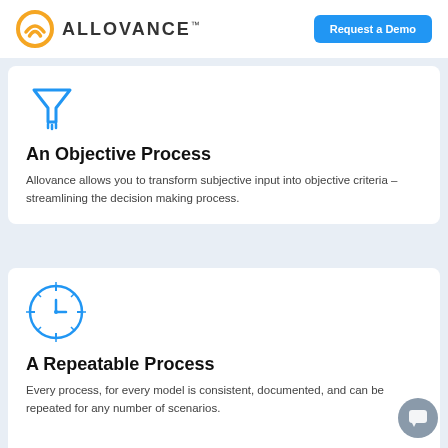ALLOVANCE™   Request a Demo
[Figure (illustration): Blue funnel/filter icon]
An Objective Process
Allovance allows you to transform subjective input into objective criteria – streamlining the decision making process.
[Figure (illustration): Blue clock/timer crosshair icon]
A Repeatable Process
Every process, for every model is consistent, documented, and can be repeated for any number of scenarios.